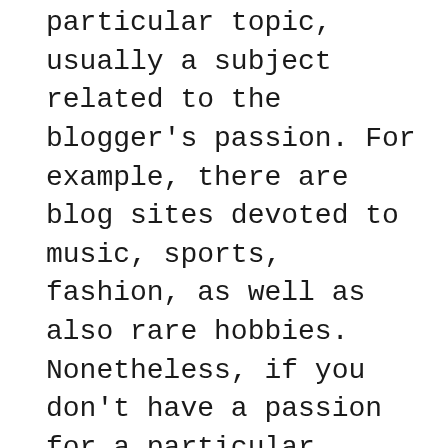particular topic, usually a subject related to the blogger's passion. For example, there are blog sites devoted to music, sports, fashion, as well as also rare hobbies. Nonetheless, if you don't have a passion for a particular subject, you can always write a basic blog site. It will likely be a lot more successful if the material is fascinating as well as original. Last but not least, remember to select an appealing domain name for your blog.
The most important part of blogging is enthusiasm. Interest is the crucial to blogging success. No one intends to read textbooks; people wish to learn from your experience. They do not wish to read a dish that sounds like it came from a cookbook. Your interest for what you create is what will certainly